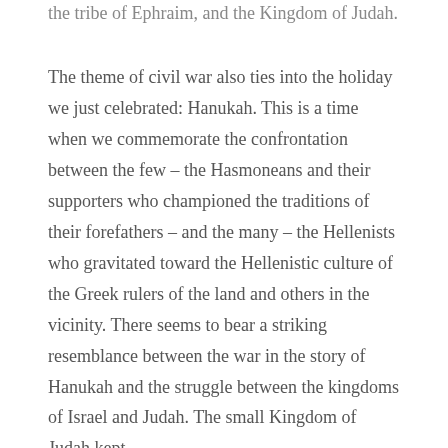the tribe of Ephraim, and the Kingdom of Judah.
The theme of civil war also ties into the holiday we just celebrated: Hanukah. This is a time when we commemorate the confrontation between the few – the Hasmoneans and their supporters who championed the traditions of their forefathers – and the many – the Hellenists who gravitated toward the Hellenistic culture of the Greek rulers of the land and others in the vicinity. There seems to bear a striking resemblance between the war in the story of Hanukah and the struggle between the kingdoms of Israel and Judah. The small Kingdom of Judah kept